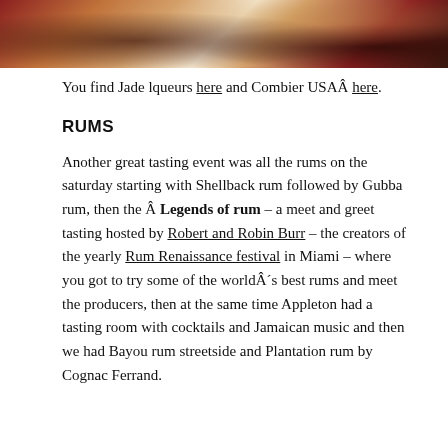[Figure (photo): Cropped top portion of a photo showing dark reddish-brown and warm golden tones, possibly spirits bottles or food items]
You find Jade lqueurs here and Combier USAÂ here.
RUMS
Another great tasting event was all the rums on the saturday starting with Shellback rum followed by Gubba rum, then the Â Legends of rum – a meet and greet tasting hosted by Robert and Robin Burr – the creators of the yearly Rum Renaissance festival in Miami – where you got to try some of the worldÂ´s best rums and meet the producers, then at the same time Appleton had a tasting room with cocktails and Jamaican music and then we had Bayou rum streetside and Plantation rum by Cognac Ferrand.